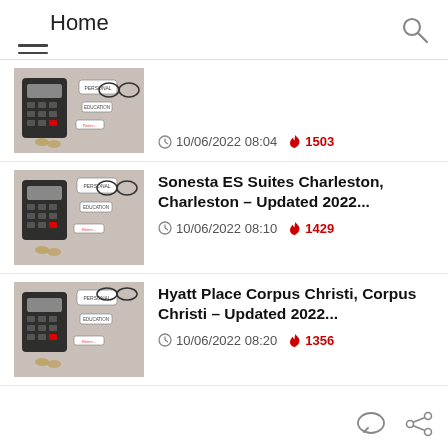Home
10/06/2022 08:04  1503
Sonesta ES Suites Charleston, Charleston – Updated 2022...
10/06/2022 08:10  1429
Hyatt Place Corpus Christi, Corpus Christi – Updated 2022...
10/06/2022 08:20  1356